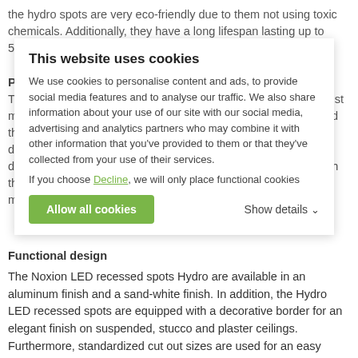the hydro spots are very eco-friendly due to them not using toxic chemicals. Additionally, they have a long lifespan lasting up to 50,000 burning hours.
Protection against the elements
The Noxion Hydro LED recessed spots are well protected against moisture and water. The spots are classified as fire resistant and the IP value of IP55. This means that it is fully protected against dust and is also protected against water beams from different directions. This, combined with a long life span ensures that with the Hydro recessed spot you don't have to worry about maintenance or replacement costs.
This website uses cookies
We use cookies to personalise content and ads, to provide social media features and to analyse our traffic. We also share information about your use of our site with our social media, advertising and analytics partners who may combine it with other information that you've provided to them or that they've collected from your use of their services.
If you choose Decline, we will only place functional cookies
Allow all cookies    Show details
Functional design
The Noxion LED recessed spots Hydro are available in an aluminum finish and a sand-white finish. In addition, the Hydro LED recessed spots are equipped with a decorative border for an elegant finish on suspended, stucco and plaster ceilings. Furthermore, standardized cut out sizes are used for an easy installation. The recessed spots are tiltable, making them a great fit for accent lighting.